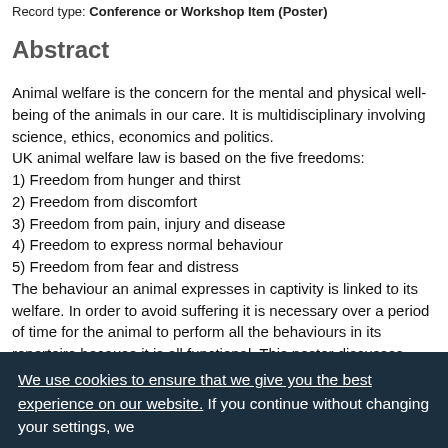Record type: Conference or Workshop Item (Poster)
Abstract
Animal welfare is the concern for the mental and physical well-being of the animals in our care. It is multidisciplinary involving science, ethics, economics and politics.
UK animal welfare law is based on the five freedoms:
1) Freedom from hunger and thirst
2) Freedom from discomfort
3) Freedom from pain, injury and disease
4) Freedom to express normal behaviour
5) Freedom from fear and distress
The behaviour an animal expresses in captivity is linked to its welfare. In order to avoid suffering it is necessary over a period of time for the animal to perform all the behaviours in its repertoire because it is all functional. This poster discusses
We use cookies to ensure that we give you the best experience on our website. If you continue without changing your settings, we